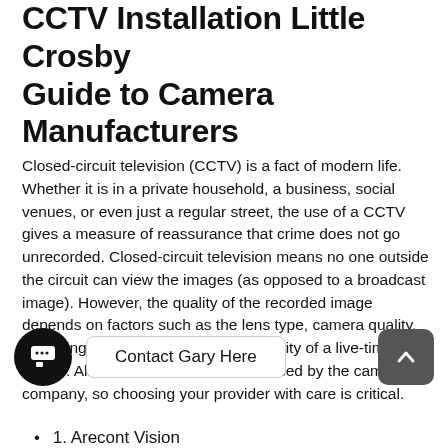CCTV Installation Little Crosby Guide to Camera Manufacturers
Closed-circuit television (CCTV) is a fact of modern life. Whether it is in a private household, a business, social venues, or even just a regular street, the use of a CCTV gives a measure of reassurance that crime does not go unrecorded. Closed-circuit television means no one outside the circuit can view the images (as opposed to a broadcast image). However, the quality of the recorded image depends on factors such as the lens type, camera quality, recording facilities, or even the capability of a live-time viewer. All of these factors are influenced by the camera company, so choosing your provider with care is critical.
[Figure (other): UI bar with chat icon button, 'Contact Gary Here' button, and an up-arrow scroll button]
1. Arecont Vision